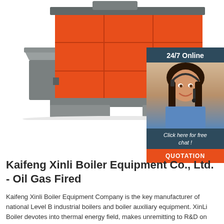[Figure (photo): Orange industrial coal-fired boiler with gray base and feed hopper on white background]
[Figure (photo): 24/7 Online customer service widget showing a woman with headset, dark teal background, with 'Click here for free chat!' text and orange QUOTATION button]
Kaifeng Xinli Boiler Equipment Co., Ltd. - Oil Gas Fired
Kaifeng Xinli Boiler Equipment Company is the key manufacturer of national Level B industrial boilers and boiler auxiliary equipment. XinLi Boiler devotes into thermal energy field, makes unremitting to R&D on